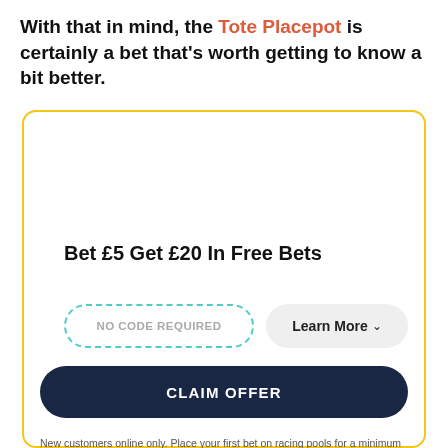With that in mind, the Tote Placepot is certainly a bet that's worth getting to know a bit better.
[Figure (infographic): Promotional offer card with yellow border containing: 'Bet £5 Get £20 In Free Bets' offer, NO CODE REQUIRED input with dashed teal border, Learn More button, CLAIM OFFER dark navy button, and terms text below.]
Bet £5 Get £20 In Free Bets
NO CODE REQUIRED
Learn More
CLAIM OFFER
New customers online only. Place your first bet on racing pools for a minimum of £5 and win or lose you will receive £20 Tote Credit. £20 Tote Credit rewarded as £10 redeemable against racing bets only and £10 redeemable against UK and Irish placepot bets only. Tote Credit cannot be withdrawn, exchanged, or